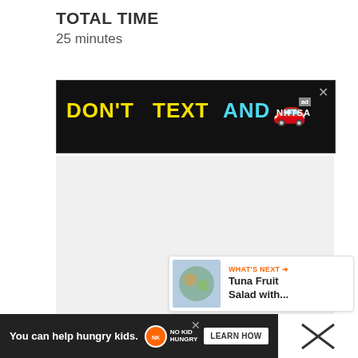TOTAL TIME
25 minutes
[Figure (other): Advertisement banner: DON'T TEXT AND [car emoji] with NHTSA logo on black background, with close button]
[Figure (other): Gray content area with heart/favorite button showing 567 saves and a share button]
[Figure (other): What's Next card showing Tuna Fruit Salad with... with thumbnail image]
[Figure (other): Bottom advertisement bar: You can help hungry kids. No Kid Hungry logo and LEARN HOW button on dark background]